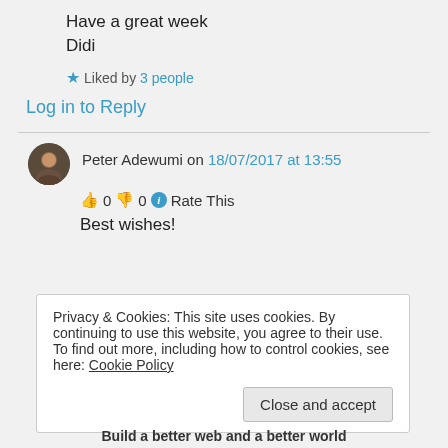Have a great week
Didi
★ Liked by 3 people
Log in to Reply
Peter Adewumi on 18/07/2017 at 13:55
👍 0 👎 0 ℹ Rate This
Best wishes!
Privacy & Cookies: This site uses cookies. By continuing to use this website, you agree to their use.
To find out more, including how to control cookies, see here: Cookie Policy
Close and accept
Build a better web and a better world